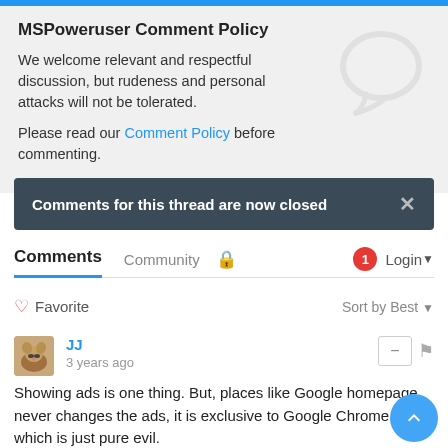MSPoweruser Comment Policy
We welcome relevant and respectful discussion, but rudeness and personal attacks will not be tolerated.
Please read our Comment Policy before commenting.
Comments for this thread are now closed
Comments  Community  🔒  1  Login
♡ Favorite  Sort by Best
JJ
3 years ago
Showing ads is one thing. But, places like Google homepage never changes the ads, it is exclusive to Google Chrome ad, which is just pure evil.
4  ∧  |  ∨  1